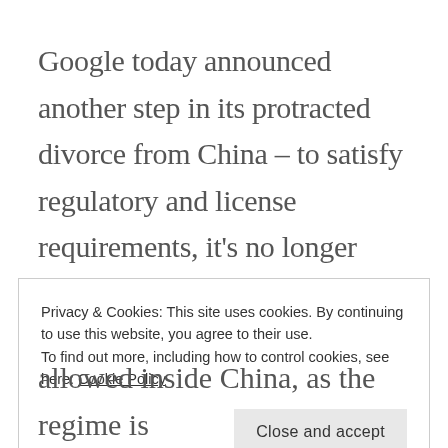Google today announced another step in its protracted divorce from China – to satisfy regulatory and license requirements, it's no longer directly serving results from its Hong Kong based (and uncensored) engine onto its Google.cn site. Instead, it's directing users to the Hong Kong site, in essence, creating one more
Privacy & Cookies: This site uses cookies. By continuing to use this website, you agree to their use.
To find out more, including how to control cookies, see here: Cookie Policy
allowed inside China, as the regime is